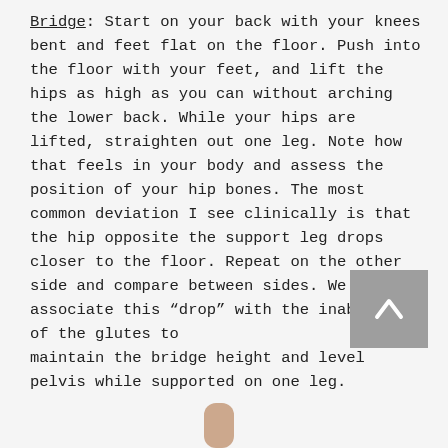Bridge: Start on your back with your knees bent and feet flat on the floor. Push into the floor with your feet, and lift the hips as high as you can without arching the lower back. While your hips are lifted, straighten out one leg. Note how that feels in your body and assess the position of your hip bones. The most common deviation I see clinically is that the hip opposite the support leg drops closer to the floor. Repeat on the other side and compare between sides. We associate this “drop” with the inability of the glutes to maintain the bridge height and level pelvis while supported on one leg.
[Figure (illustration): A back/up arrow button (chevron up) in a grey square, used as a scroll-to-top UI element. Partial thumbnail of a hand or foot visible at the bottom center of the page.]